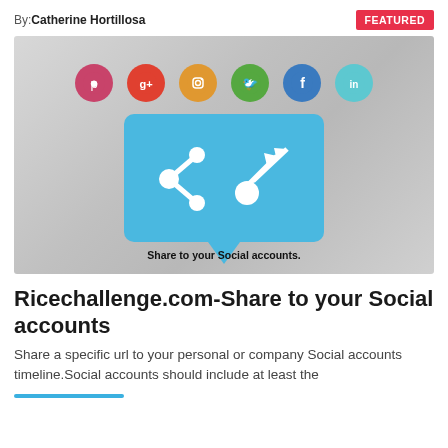By: Catherine Hortillosa
FEATURED
[Figure (illustration): Social media sharing illustration showing Pinterest, Google+, Instagram, Twitter, Facebook, LinkedIn icons above a blue speech bubble with share and arrow icons. Caption: Share to your Social accounts.]
Ricechallenge.com-Share to your Social accounts
Share a specific url to your personal or company Social accounts timeline.Social accounts should include at least the